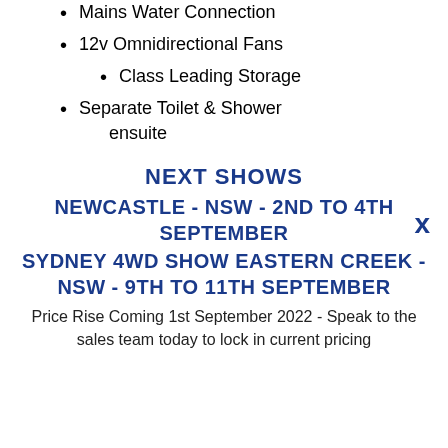Mains Water Connection
12v Omnidirectional Fans
Class Leading Storage
Separate Toilet & Shower ensuite
NEXT SHOWS
NEWCASTLE - NSW - 2ND TO 4TH SEPTEMBER
SYDNEY 4WD SHOW EASTERN CREEK - NSW - 9TH TO 11TH SEPTEMBER
Price Rise Coming 1st September 2022 - Speak to the sales team today to lock in current pricing